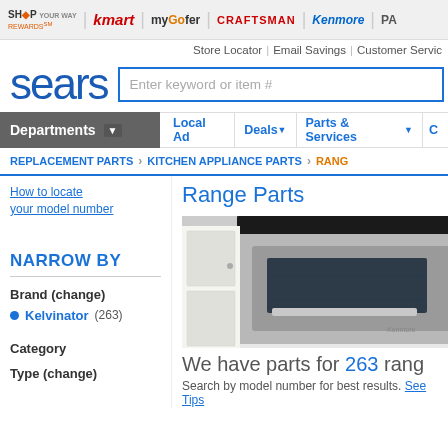SHOP YOUR WAY REWARDS | kmart | myGofer | CRAFTSMAN | Kenmore | PA
Store Locator | Email Savings | Customer Service
[Figure (logo): Sears logo in blue with search box 'Enter keyword or item #']
Departments | Local Ad | Deals | Parts & Services |
REPLACEMENT PARTS > KITCHEN APPLIANCE PARTS > RANGE
How to locate your model number
Range Parts
NARROW BY
Brand (change)
Kelvinator (263)
Category
Type (change)
[Figure (photo): Stainless steel range/oven appliance photo]
We have parts for 263 rang
Search by model number for best results. See Tips